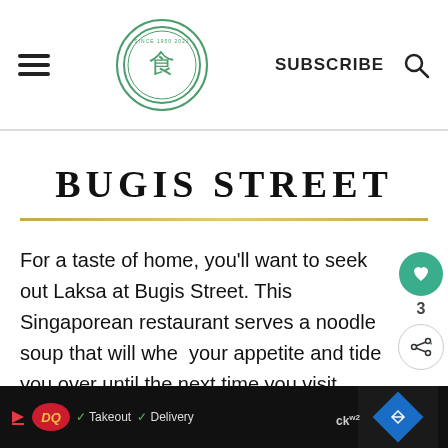SUBSCRIBE
BUGIS STREET
For a taste of home, you'll want to seek out Laksa at Bugis Street. This Singaporean restaurant serves a noodle soup that will whet your appetite and tide you over until the next time you visit Singapore.